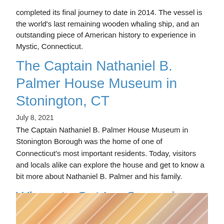completed its final journey to date in 2014. The vessel is the world's last remaining wooden whaling ship, and an outstanding piece of American history to experience in Mystic, Connecticut.
The Captain Nathaniel B. Palmer House Museum in Stonington, CT
July 8, 2021
The Captain Nathaniel B. Palmer House Museum in Stonington Borough was the home of one of Connecticut's most important residents. Today, visitors and locals alike can explore the house and get to know a bit more about Nathaniel B. Palmer and his family.
Where to Get Ice Cream in Watch Hill, Rhode Island
July 5, 2021
[Figure (photo): Close-up photo of colorful ice cream scoops with diagonal white highlight lines.]